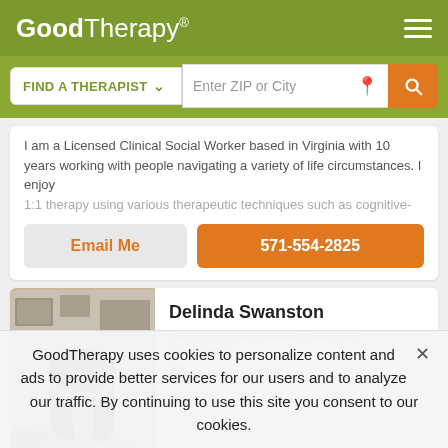GoodTherapy®
FIND A THERAPIST  Enter ZIP or City
I am a Licensed Clinical Social Worker based in Virginia with 10 years working with people navigating a variety of life circumstances. I enjoy 1:1 therapy using various therapeutic techniques such as cognitive-
Email Me  571-554-2825
Delinda Swanston
Licensed Professional Counselor
Counselor
✓ Verified
GoodTherapy uses cookies to personalize content and ads to provide better services for our users and to analyze our traffic. By continuing to use this site you consent to our cookies.